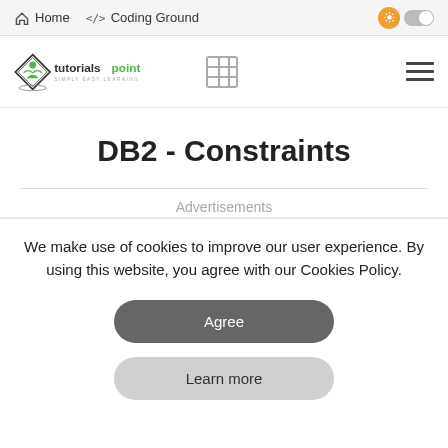Home  </> Coding Ground
[Figure (logo): tutorialspoint logo — diamond shape with person icon, text 'tutorialspoint SIMPLY EASY LEARNING']
DB2 - Constraints
Advertisements
We make use of cookies to improve our user experience. By using this website, you agree with our Cookies Policy.
Agree
Learn more